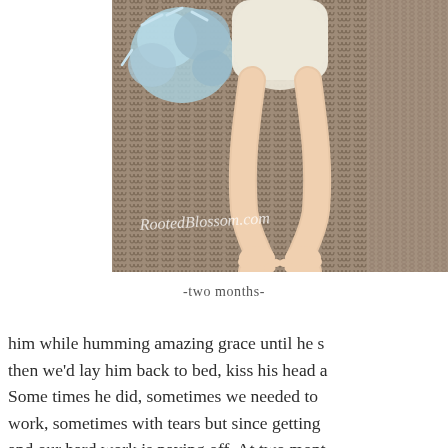[Figure (photo): Overhead photo of a baby lying on a brown cable-knit blanket with a blue stuffed animal toy visible. The baby's legs and feet are visible. A watermark reads 'RootedBlossom.com'.]
-two months-
him while humming amazing grace until he s then we'd lay him back to bed, kiss his head a Some times he did, sometimes we needed to work, sometimes with tears but since getting and our hard work is paying off. At two mont sleeping through the night. He had slept th